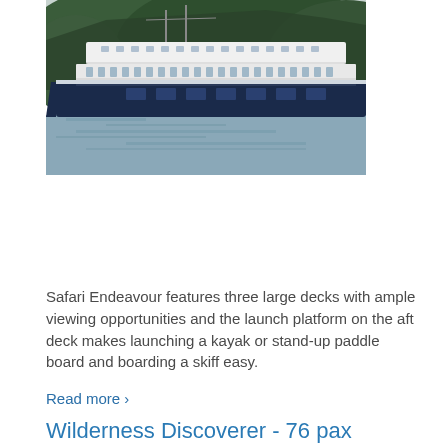[Figure (photo): A large dark navy and white cruise ship photographed from the side, anchored near a forested rocky hillside with calm water reflections below.]
Safari Endeavour features three large decks with ample viewing opportunities and the launch platform on the aft deck makes launching a kayak or stand-up paddle board and boarding a skiff easy.
Read more >
Wilderness Discoverer - 76 pax